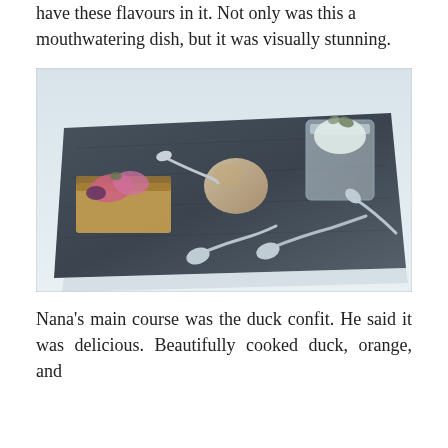have these flavours in it. Not only was this a mouthwatering dish, but it was visually stunning.
[Figure (photo): A dessert dish served on a dark slate board, featuring a rectangular pastry topped with pink and purple garnishes on the left, a scoop of ice cream in the centre, a glass with cream or mousse on the right, and two silver spoons in the foreground, all set on a white tablecloth.]
Nana’s main course was the duck confit. He said it was delicious. Beautifully cooked duck, orange, and